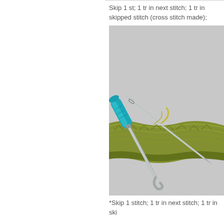Skip 1 st; 1 tr in next stitch; 1 tr in skipped stitch (cross stitch made);
[Figure (photo): A crochet hook with a teal/turquoise handle and a tapestry needle resting on a strip of olive/yellow-green crocheted fabric against a light gray background.]
*Skip 1 stitch; 1 tr in next stitch; 1 tr in ski